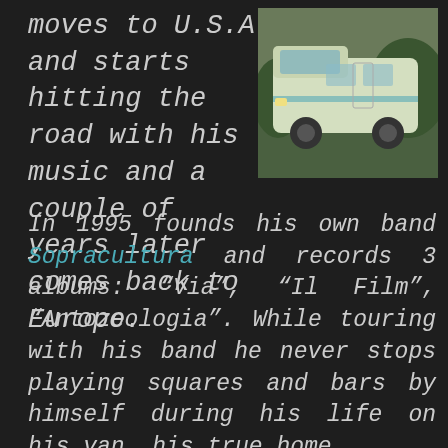moves to U.S.A and starts hitting the road with his music and a couple of years later comes back to Europe.
[Figure (photo): A white/light-colored camper van or motorhome parked outdoors, photographed from the front-left angle.]
In 1995 founds his own band Sopracultura and records 3 albums: “Via”, “Il Film”, “Antozoologia”. While touring with his band he never stops playing squares and bars by himself during his life on his van, his true home.